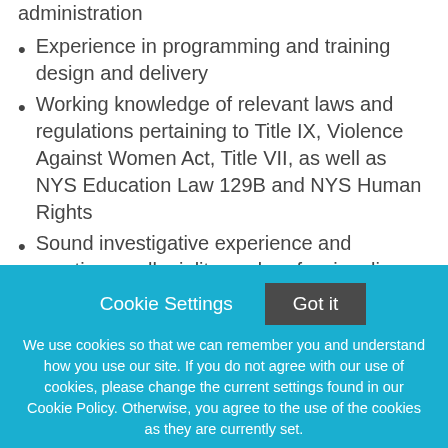administration
Experience in programming and training design and delivery
Working knowledge of relevant laws and regulations pertaining to Title IX, Violence Against Women Act, Title VII, as well as NYS Education Law 129B and NYS Human Rights
Sound investigative experience and practices, collegiality, and professionalism, as well as highly effective verbal and written communication skills are essential to the role
Cookie Settings   Got it

We use cookies so that we can remember you and understand how you use our site. If you do not agree with our use of cookies, please change the current settings found in our Cookie Policy. Otherwise, you agree to the use of the cookies as they are currently set.